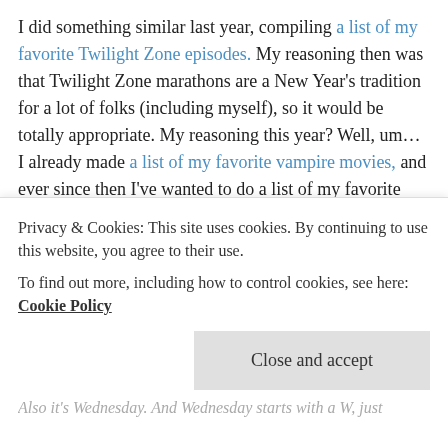I did something similar last year, compiling a list of my favorite Twilight Zone episodes. My reasoning then was that Twilight Zone marathons are a New Year's tradition for a lot of folks (including myself), so it would be totally appropriate. My reasoning this year? Well, um… I already made a list of my favorite vampire movies, and ever since then I've wanted to do a list of my favorite werewolf movies.
I like talking about werewolves. Sue me.
If that's not good enough for you, then how about this: January 1st is one of of the 12 nights of Christmas (a period which runs from December 25 until January 6; not
Privacy & Cookies: This site uses cookies. By continuing to use this website, you agree to their use.
To find out more, including how to control cookies, see here: Cookie Policy
Close and accept
Also it's Wednesday. And Wednesday starts with a W, just